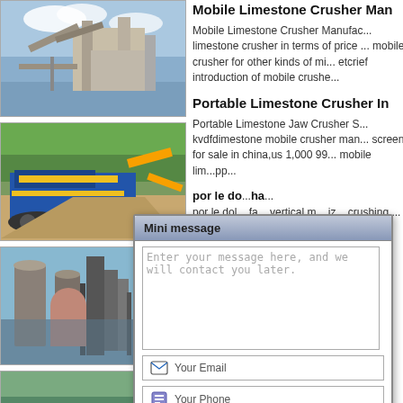[Figure (photo): Industrial mobile limestone crusher/screen plant under blue sky]
[Figure (photo): Blue mobile jaw crusher with excavator on a gravel site]
[Figure (photo): Industrial vertical mill and silos against blue sky]
[Figure (photo): Partially visible photo at bottom of left column]
Mobile Limestone Crusher Man
Mobile Limestone Crusher Manufactu... limestone crusher in terms of price ... mobile crusher for other kinds of mi... etcrief introduction of mobile crushe...
Portable Limestone Crusher In
Portable Limestone Jaw Crusher S... kvdfdimestone mobile crusher man... screen for sale in china,us 1,000 99... mobile li... pp...
por le do... ha... vertical m... iz... crushing ... y crushing ... n.
limesto... en